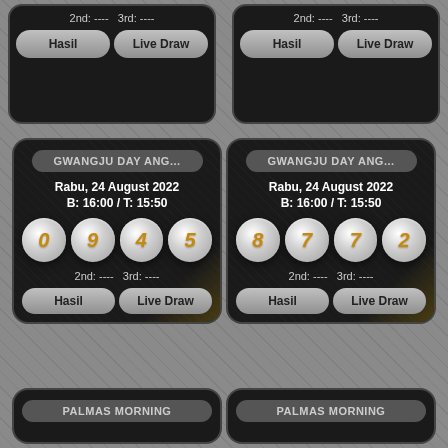[Figure (screenshot): Top partial lottery card left - showing 2nd: ---- 3rd: ---- and Hasil / Live Draw buttons]
[Figure (screenshot): Top partial lottery card right - showing 2nd: ---- 3rd: ---- and Hasil / Live Draw buttons]
[Figure (screenshot): Main lottery card left - GWANGJU DAY ANG..., Rabu 24 August 2022, B:16:00/T:15:50, numbers 0 9 4 5, 2nd: ---- 3rd: ----, Hasil / Live Draw]
[Figure (screenshot): Main lottery card right - GWANGJU DAY ANG..., Rabu 24 August 2022, B:16:00/T:15:50, numbers 8 7 7 2, 2nd: ---- 3rd: ----, Hasil / Live Draw]
[Figure (screenshot): Bottom partial card left - PALMAS MORNING label visible]
[Figure (screenshot): Bottom partial card right - PALMAS MORNING label visible]